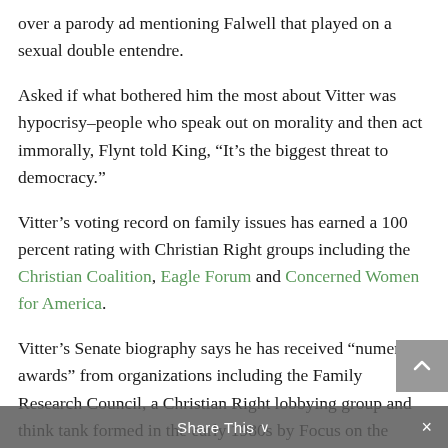over a parody ad mentioning Falwell that played on a sexual double entendre.
Asked if what bothered him the most about Vitter was hypocrisy–people who speak out on morality and then act immorally, Flynt told King, “It’s the biggest threat to democracy.”
Vitter’s voting record on family issues has earned a 100 percent rating with Christian Right groups including the Christian Coalition, Eagle Forum and Concerned Women for America.
Vitter’s Senate biography says he has received “numerous awards” from organizations including the Family Research Council, a Christian Right lobbying group and think tank formed in the early 1980s by Focus on the Family founder, James
Share This